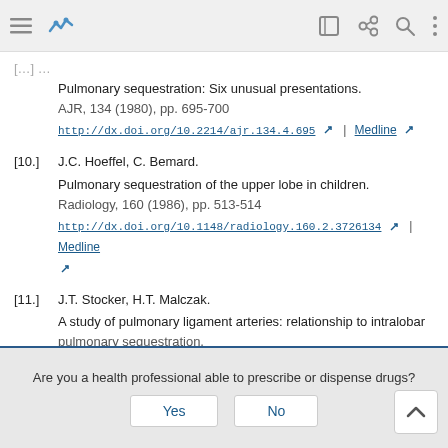[toolbar with navigation icons]
Pulmonary sequestration: Six unusual presentations.
AJR, 134 (1980), pp. 695-700
http://dx.doi.org/10.2214/ajr.134.4.695 | Medline
[10.] J.C. Hoeffel, C. Bemard.
Pulmonary sequestration of the upper lobe in children.
Radiology, 160 (1986), pp. 513-514
http://dx.doi.org/10.1148/radiology.160.2.3726134 | Medline
[11.] J.T. Stocker, H.T. Malczak.
A study of pulmonary ligament arteries: relationship to intralobar pulmonary sequestration.
Are you a health professional able to prescribe or dispense drugs?